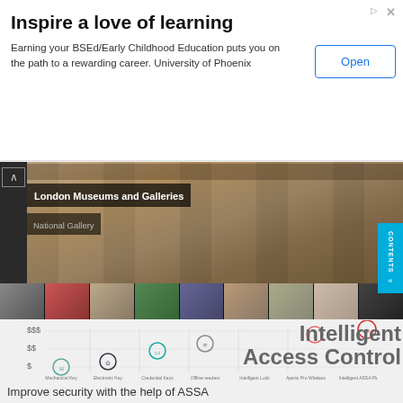[Figure (screenshot): Advertisement banner: Inspire a love of learning - University of Phoenix BSEd/Early Childhood Education. Open button.]
[Figure (photo): London Museums and Galleries - National Gallery hero photo with thumbnail strip of museum images]
[Figure (infographic): Intelligent Access Control infographic showing ascending cost/complexity chart with circular icons for different access control technologies]
Improve security with the help of ASSA